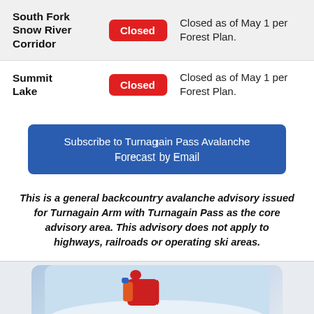| Location | Status | Description |
| --- | --- | --- |
| South Fork Snow River Corridor | Closed | Closed as of May 1 per Forest Plan. |
| Summit Lake | Closed | Closed as of May 1 per Forest Plan. |
Subscribe to Turnagain Pass Avalanche Forecast by Email
This is a general backcountry avalanche advisory issued for Turnagain Arm with Turnagain Pass as the core advisory area. This advisory does not apply to highways, railroads or operating ski areas.
[Figure (photo): Photo of a person in a red jacket in a snowy mountain backcountry setting, partially visible at bottom of page]